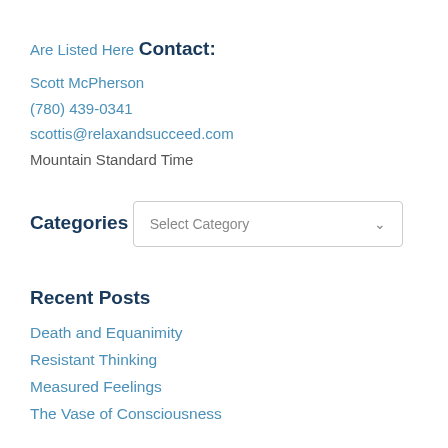Are Listed Here
Contact:
Scott McPherson
(780) 439-0341
scottis@relaxandsucceed.com
Mountain Standard Time
Categories
Select Category
Recent Posts
Death and Equanimity
Resistant Thinking
Measured Feelings
The Vase of Consciousness